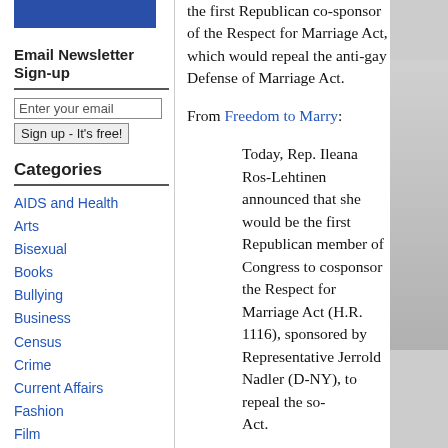[Figure (other): Blue bar graphic at top of sidebar]
Email Newsletter Sign-up
Enter your email
Sign up - It's free!
Categories
AIDS and Health
Arts
Bisexual
Books
Bullying
Business
Census
Crime
Current Affairs
Fashion
Film
Florida
Food and Drink
the first Republican co-sponsor of the Respect for Marriage Act, which would repeal the anti-gay Defense of Marriage Act.
From Freedom to Marry:
Today, Rep. Ileana Ros-Lehtinen announced that she would be the first Republican member of Congress to cosponsor the Respect for Marriage Act (H.R. 1116), sponsored by Representative Jerrold Nadler (D-NY), to repeal the so- Act.
"Representative Ileana Ros-Leh important bill confirms that equa a bipartisan, mainstream value,' and President of Freedom to Ma marriage nationwide.  "Working